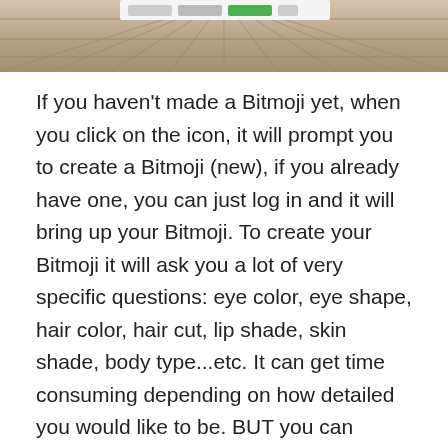[Figure (photo): Top portion of a webpage or presentation showing a wooden deck/floor texture background with a browser toolbar at the top.]
If you haven't made a Bitmoji yet, when you click on the icon, it will prompt you to create a Bitmoji (new), if you already have one, you can just log in and it will bring up your Bitmoji. To create your Bitmoji it will ask you a lot of very specific questions: eye color, eye shape, hair color, hair cut, lip shade, skin shade, body type...etc. It can get time consuming depending on how detailed you would like to be. BUT you can always go back and adjust your Bitmoji if you aren't satisfied with how it turns out.
To add your Bitmoji to your classroom (after you've created it), just click the Bitmoji icon, then your Bitmoji menu will pop up. You can either search Bitmoji for a specific thing you're looking for (i.e. mustache, waving, reading, etc.) or you can scroll down to see what is...